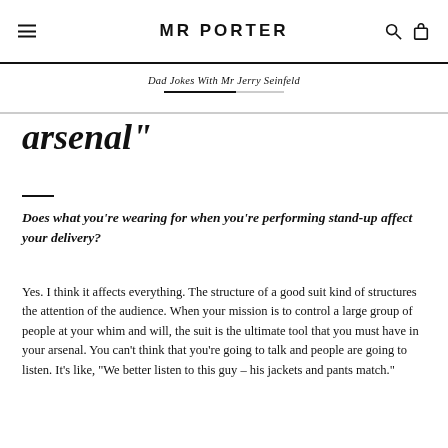MR PORTER
Dad Jokes With Mr Jerry Seinfeld
arsenal”
Does what you’re wearing for when you’re performing stand-up affect your delivery?
Yes. I think it affects everything. The structure of a good suit kind of structures the attention of the audience. When your mission is to control a large group of people at your whim and will, the suit is the ultimate tool that you must have in your arsenal. You can’t think that you’re going to talk and people are going to listen. It’s like, “We better listen to this guy – his jackets and pants match.”